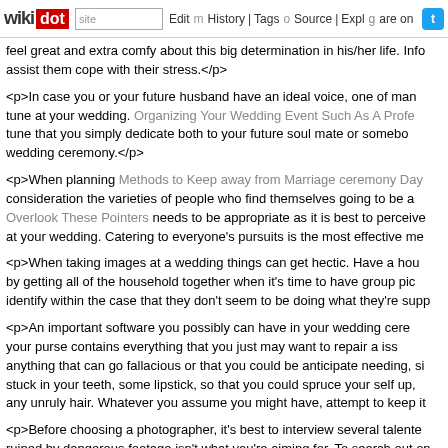wikidot | site | Edit | History | Tags | Source | Explore | Share on [Twitter]
feel great and extra comfy about this big determination in his/her life. Info assist them cope with their stress.</p>
<p>In case you or your future husband have an ideal voice, one of man tune at your wedding. Organizing Your Wedding Event Such As A Profe tune that you simply dedicate both to your future soul mate or somebo wedding ceremony.</p>
<p>When planning Methods to Keep away from Marriage ceremony Day consideration the varieties of people who find themselves going to be a Overlook These Pointers needs to be appropriate as it is best to perceive at your wedding. Catering to everyone's pursuits is the most effective me
<p>When taking images at a wedding things can get hectic. Have a hou by getting all of the household together when it's time to have group pic identify within the case that they don't seem to be doing what they're supp
<p>An important software you possibly can have in your wedding cere your purse contains everything that you just may want to repair a iss anything that can go fallacious or that you could be anticipate needing, si stuck in your teeth, some lipstick, so that you could spruce your self up, any unruly hair. Whatever you assume you might have, attempt to keep it
<p>Before choosing a photographer, it's best to interview several talente ruined by dangerous footage isn't what you're aiming for. To search out on-line review websites or get a personal suggestion from someone you m
<p>Why not provide a tour of the world to the company of your destinatio alongside too and have a enjoyable-crammed stress relieving day with